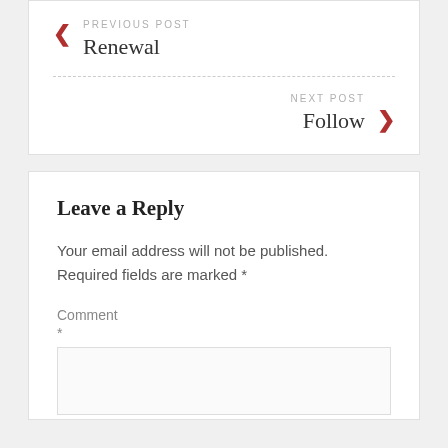PREVIOUS POST
Renewal
NEXT POST
Follow
Leave a Reply
Your email address will not be published. Required fields are marked *
Comment *